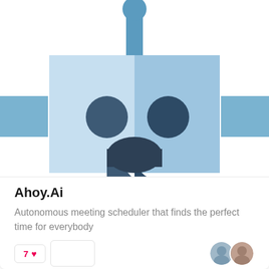[Figure (illustration): A cartoon robot face illustration with light blue and slightly darker blue tones. The robot has a rectangular head with two circular dark eyes, a semi-circular smiling mouth, an antenna on top, and small rectangular ear-pieces on the sides. The face is divided into lighter (left) and slightly darker (right) halves.]
Ahoy.Ai
Autonomous meeting scheduler that finds the perfect time for everybody